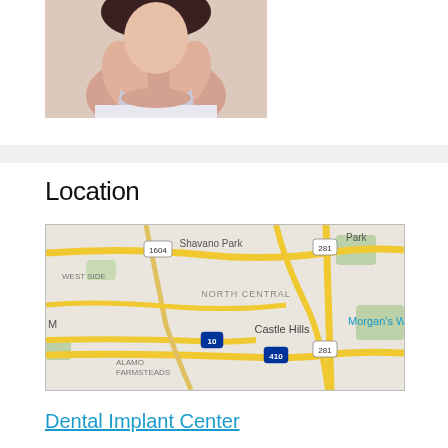[Figure (photo): Photo of a woman sitting with arms crossed, top portion of body visible, partial crop at top of page]
Location
[Figure (map): Google Maps screenshot showing San Antonio TX area including Shavano Park, North Central, Castle Hills, Alamo Farmsteads, Morgan's Wo(odland Hills), with highways 1604, 281, 10, 410 visible]
Dental Implant Center